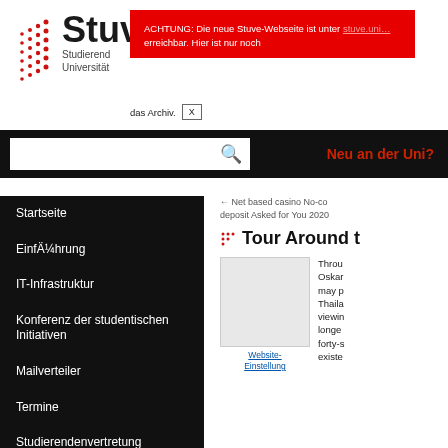[Figure (logo): Stuve logo with red dot grid pattern]
Stuve
Studierend Universität
ACHTUNG: Die neue Stuve-Webseite ist unter [link] erreichbar. Hier ist nur noch das Archiv.
Neu an der Uni?
Startseite
EinfÄ¼hrung
IT-Infrastruktur
Konferenz der studentischen Initiativen
Mailverteiler
Termine
Studierendenvertretung
Referate & Arbeitskreise
← Net based casino No-cost deposit Asked for You 2020
Tour Around t
[Figure (photo): Placeholder image thumbnail]
Website-Einstellung
Through Oskar may p Thaila viewin longe forty-s existe